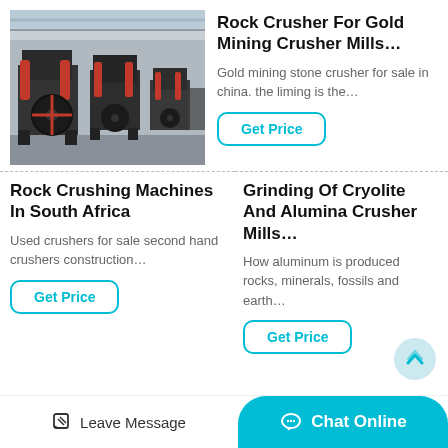[Figure (photo): Industrial rock crusher machines in a factory/warehouse setting, with red and black heavy machinery lined up]
Rock Crusher For Gold Mining Crusher Mills…
Gold mining stone crusher for sale in china. the liming is the…
Get Price
Rock Crushing Machines In South Africa
Used crushers for sale second hand crushers construction…
Get Price
Grinding Of Cryolite And Alumina Crusher Mills…
How aluminum is produced rocks, minerals, fossils and earth…
Get Price
Leave Message   Chat Online